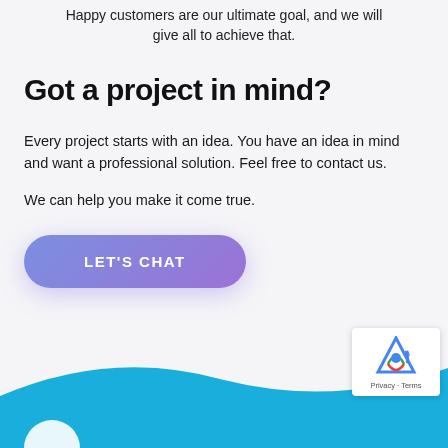Happy customers are our ultimate goal, and we will give all to achieve that.
Got a project in mind?
Every project starts with an idea. You have an idea in mind and want a professional solution. Feel free to contact us.

We can help you make it come true.
[Figure (other): A gradient button with text LET'S CHAT in white uppercase letters, rounded pill shape with blue-purple gradient]
[Figure (illustration): Blue wave shape at the bottom of the page with a partial circular icon visible at the bottom left. A reCAPTCHA badge is visible in the bottom right corner.]